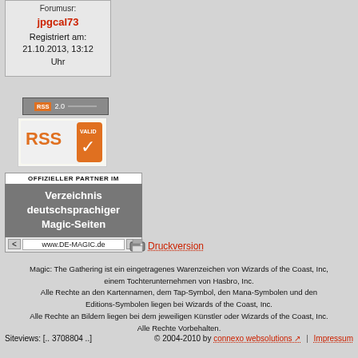Forumusr:
jpgcal73
Registriert am: 21.10.2013, 13:12 Uhr
[Figure (logo): RSS 2.0 button badge in grey/orange]
[Figure (logo): RSS Valid orange checkmark badge]
[Figure (infographic): OFFIZIELLER PARTNER IM Verzeichnis deutschsprachiger Magic-Seiten banner with www.DE-MAGIC.de]
Druckversion
Magic: The Gathering ist ein eingetragenes Warenzeichen von Wizards of the Coast, Inc, einem Tochterunternehmen von Hasbro, Inc. Alle Rechte an den Kartennamen, dem Tap-Symbol, den Mana-Symbolen und den Editions-Symbolen liegen bei Wizards of the Coast, Inc. Alle Rechte an Bildern liegen bei dem jeweiligen Künstler oder Wizards of the Coast, Inc. Alle Rechte Vorbehalten.
Siteviews: [.. 3708804 ..]  © 2004-2010 by connexo websolutions  |  Impressum